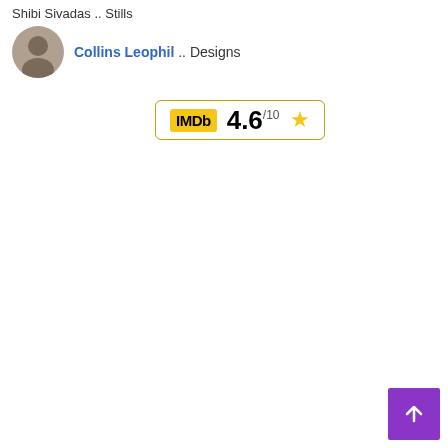Shibi Sivadas .. Stills
Collins Leophil .. Designs
[Figure (other): IMDb rating badge showing 4.6/10 with a star icon]
[Figure (other): Purple back-to-top button with upward arrow]